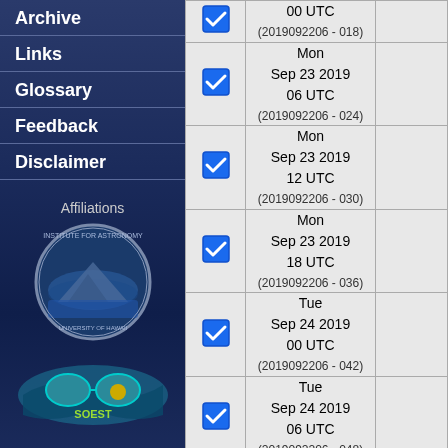Archive
Links
Glossary
Feedback
Disclaimer
Affiliations
[Figure (logo): Institute for Astronomy, University of Hawaii circular logo]
[Figure (logo): SOEST wave logo with text]
| Select | Date/Time |  |
| --- | --- | --- |
| ✓ | 00 UTC
(2019092206 - 018) |  |
| ✓ | Mon
Sep 23 2019
06 UTC
(2019092206 - 024) |  |
| ✓ | Mon
Sep 23 2019
12 UTC
(2019092206 - 030) |  |
| ✓ | Mon
Sep 23 2019
18 UTC
(2019092206 - 036) |  |
| ✓ | Tue
Sep 24 2019
00 UTC
(2019092206 - 042) |  |
| ✓ | Tue
Sep 24 2019
06 UTC
(2019092206 - 048) |  |
| ✓ | Tue
Sep 24 2019
12 UTC
(2019092206 - 054) |  |
| ✓ | Tue |  |